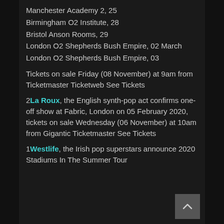Manchester Academy 2, 25
Birmingham O2 Institute, 28
Bristol Anson Rooms, 29
London O2 Shepherds Bush Empire, 02 March
London O2 Shepherds Bush Empire, 03
Tickets on sale Friday (08 November) at 9am from Ticketmaster Ticketweb See Tickets
2La Roux, the English synth-pop act confirms one-off show at Fabric, London on 05 February 2020, tickets on sale Wednesday (06 November) at 10am from Gigantic Ticketmaster See Tickets
1Westlife, the Irish pop superstars announce 2020 Stadiums In The Summer Tour